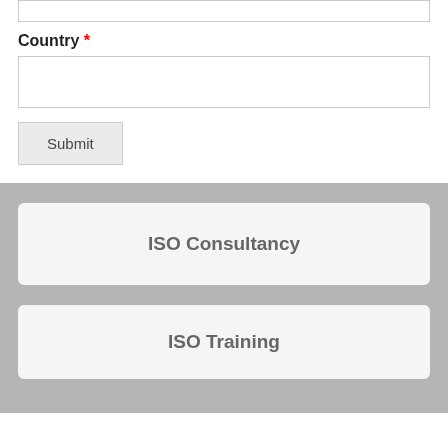[input field top]
Country *
[country input field]
Submit
ISO Consultancy
ISO Training